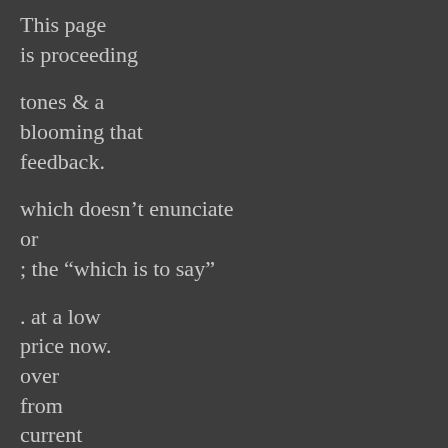This page
is proceeding
tones & a
blooming that
feedback.
which doesn’t enunciate
or
; the “which is to say”
. at a low
price now.
over
from
current
will create threads
I have many
changes